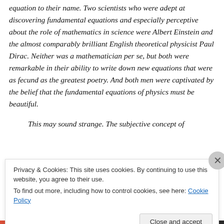equation to their name. Two scientists who were adept at discovering fundamental equations and especially perceptive about the role of mathematics in science were Albert Einstein and the almost comparably brilliant English theoretical physicist Paul Dirac. Neither was a mathematician per se, but both were remarkable in their ability to write down new equations that were as fecund as the greatest poetry. And both men were captivated by the belief that the fundamental equations of physics must be beautiful.
This may sound strange. The subjective concept of
Privacy & Cookies: This site uses cookies. By continuing to use this website, you agree to their use. To find out more, including how to control cookies, see here: Cookie Policy